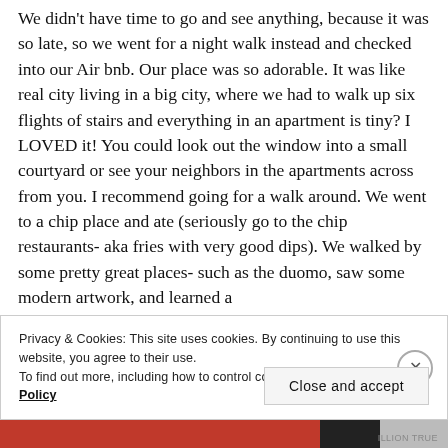We didn't have time to go and see anything, because it was so late, so we went for a night walk instead and checked into our Air bnb. Our place was so adorable. It was like real city living in a big city, where we had to walk up six flights of stairs and everything in an apartment is tiny? I LOVED it! You could look out the window into a small courtyard or see your neighbors in the apartments across from you. I recommend going for a walk around. We went to a chip place and ate (seriously go to the chip restaurants- aka fries with very good dips). We walked by some pretty great places- such as the duomo, saw some modern artwork, and learned a
Privacy & Cookies: This site uses cookies. By continuing to use this website, you agree to their use.
To find out more, including how to control cookies, see here: Cookie Policy